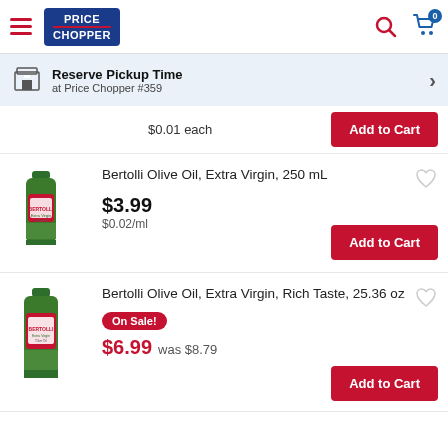Price Chopper header with hamburger menu, logo, search and cart icons
Reserve Pickup Time at Price Chopper #359
$0.01 each
Bertolli Olive Oil, Extra Virgin, 250 mL
$3.99 $0.02/ml
Bertolli Olive Oil, Extra Virgin, Rich Taste, 25.36 oz
On Sale! $6.99 was $8.79